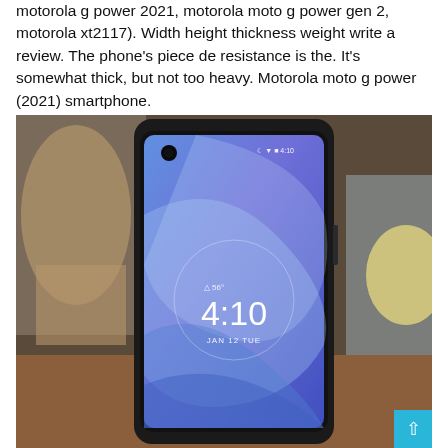motorola g power 2021, motorola moto g power gen 2, motorola xt2117). Width height thickness weight write a review. The phone's piece de resistance is the. It's somewhat thick, but not too heavy. Motorola moto g power (2021) smartphone.
[Figure (photo): Photo of a Motorola Moto G Power (2021) smartphone displaying a lock screen showing 4:10, JAN 12 TUE, and 56 degrees, with a blue abstract wallpaper. The phone has a punch-hole front camera. Background shows a dimly lit room with a lamp and a glass container.]